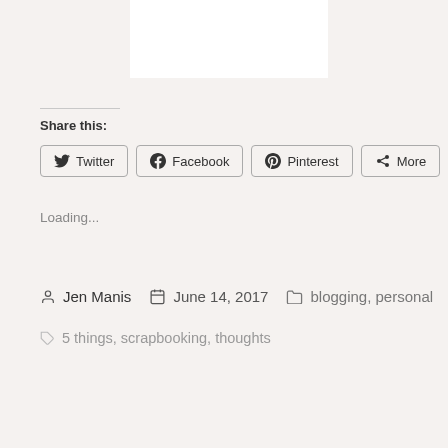[Figure (photo): White rectangular image placeholder at top center of the page]
Share this:
Twitter  Facebook  Pinterest  More
Loading...
Jen Manis   June 14, 2017   blogging, personal
5 things, scrapbooking, thoughts